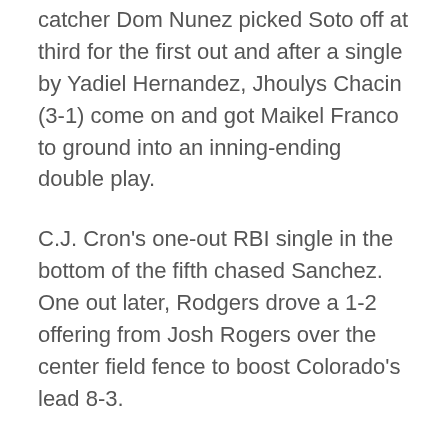catcher Dom Nunez picked Soto off at third for the first out and after a single by Yadiel Hernandez, Jhoulys Chacin (3-1) come on and got Maikel Franco to ground into an inning-ending double play.
C.J. Cron's one-out RBI single in the bottom of the fifth chased Sanchez. One out later, Rodgers drove a 1-2 offering from Josh Rogers over the center field fence to boost Colorado's lead 8-3.
Ruiz homered to lead off the sixth and Franco and Ruiz had RBI doubles in the seventh as Washington closed to within two runs before Grichuk's solo shot off Kyle Finnegan in the bottom of the seventh.